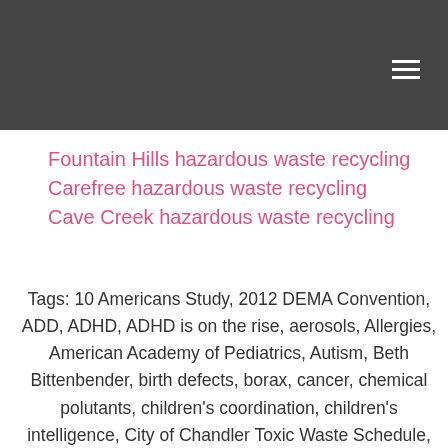Fountain Hills hazardous waste recycling
Carefree hazardous waste recycling
Cave Creek hazardous waste recycling
Tags: 10 Americans Study, 2012 DEMA Convention, ADD, ADHD, ADHD is on the rise, aerosols, Allergies, American Academy of Pediatrics, Autism, Beth Bittenbender, birth defects, borax, cancer, chemical polutants, children's coordination, children's intelligence, City of Chandler Toxic Waste Schedule, City of Phoenix Toxic Waste Schedule, City of Scottsdale Toxic Waste, cleaning products, cleaning sprays, DEMA, Domestic Estate Managers Association, domestic staff, Dry Steam Vapor, dryer sheets, Electrolyzed Water, fabric softener, flame retardants, Gilbert Arizona, gloves, Green Cleaning, green cleaning recipies, HEPTA vacuum, hormone disruption, Immune System Toxicants, Infertility, Johnson and johnson Baby Shampoo, lead, Liquid Ozone, mercury, Mesa